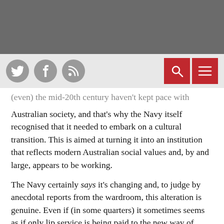[header bar - grey]
[navigation bar with social icons and search/menu buttons]
(even) the mid-20th century haven't kept pace with modern Australian society, and that's why the Navy itself recognised that it needed to embark on a cultural transition. This is aimed at turning it into an institution that reflects modern Australian social values and, by and large, appears to be working.
The Navy certainly says it's changing and, to judge by anecdotal reports from the wardroom, this alteration is genuine. Even if (in some quarters) it sometimes seems as if only lip service is being paid to the new way of doing things, if you keep repeating the same thing often enough, over time some of it must eventually sink in.
The second cultural issue that needs to be addressed is far more difficult, because it clashes directly with the fundamental ethos of the service. Quite naturally, no officer wants to admit